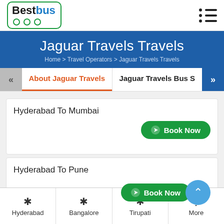BestBus
Jaguar Travels Travels
Home > Travel Operators > Jaguar Travels Travels
About Jaguar Travels | Jaguar Travels Bus S
Hyderabad To Mumbai
Book Now
Hyderabad To Pune
Book Now
Hyderabad | Bangalore | Tirupati | More